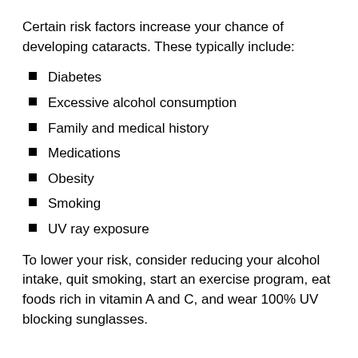Certain risk factors increase your chance of developing cataracts. These typically include:
Diabetes
Excessive alcohol consumption
Family and medical history
Medications
Obesity
Smoking
UV ray exposure
To lower your risk, consider reducing your alcohol intake, quit smoking, start an exercise program, eat foods rich in vitamin A and C, and wear 100% UV blocking sunglasses.